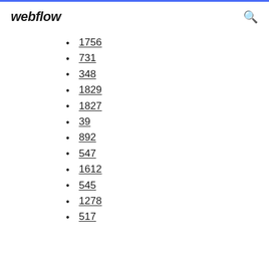webflow
1756
731
348
1829
1827
39
892
547
1612
545
1278
517